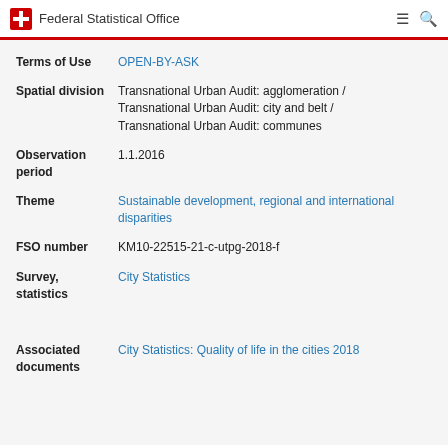Federal Statistical Office
Terms of Use: OPEN-BY-ASK
Spatial division: Transnational Urban Audit: agglomeration / Transnational Urban Audit: city and belt / Transnational Urban Audit: communes
Observation period: 1.1.2016
Theme: Sustainable development, regional and international disparities
FSO number: KM10-22515-21-c-utpg-2018-f
Survey, statistics: City Statistics
Associated documents: City Statistics: Quality of life in the cities 2018